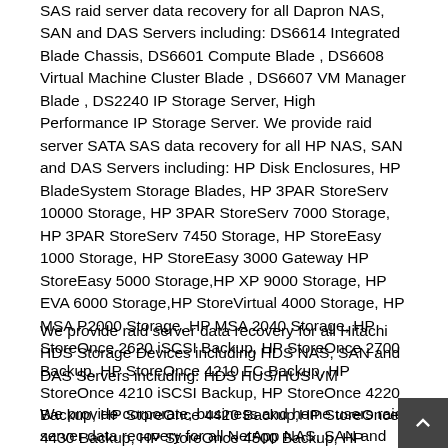SAS raid server data recovery for all Dapron NAS, SAN and DAS Servers including: DS6614 Integrated Blade Chassis, DS6601 Compute Blade , DS6608 Virtual Machine Cluster Blade , DS6607 VM Manager Blade , DS2240 IP Storage Server, High Performance IP Storage Server. We provide raid server SATA SAS data recovery for all HP NAS, SAN and DAS Servers including: HP Disk Enclosures, HP BladeSystem Storage Blades, HP 3PAR StoreServ 10000 Storage, HP 3PAR StoreServ 7000 Storage, HP 3PAR StoreServ 7450 Storage, HP StoreEasy 1000 Storage, HP StoreEasy 3000 Gateway HP StoreEasy 5000 Storage,HP XP 9000 Storage, HP EVA 6000 Storage,HP StoreVirtual 4000 Storage, HP MSA P2000 Storage, HP MSA 2040 Storage, HP StoreOnce 2620 iSCSI Backup, HP StoreOnce 2700 Backup, HP StoreOnce 4210 FC Backup, HP StoreOnce 4210 iSCSI Backup, HP StoreOnce 4220 Backup, HP StoreOnce 4420 Backup,HP StoreOnce 4430 Backup, HP StoreOnce 4500 Backup, HP StoreOnce 4700 Backup, HP StoreOnce 4900 Backup,HP StoreOnce B6200 Backup,HP StoreOnce 6500 Backup, HP StoreAll 8800 Storage.HP StoreAll 8200 Gateway,HP StoreAll 9000 Storage, HP StoreAll 9300 Gateway Storage.
We provide raid server data recovery for all Hitachi HDS Storage Devices including HDS NAS, SAN and DAS Servers including: HDS HUS/HUS VM
We provide corporate, business and home users raid server data recovery for all NetApp NAS, SAN and DAS Servers including: NetApp Cluster Mode 8.1, NetApp FAS 2XXX, NetApp FAS 3XXX, NetApp FAS 6XXX, XIV, DS3500, chr, br Our Raid server data